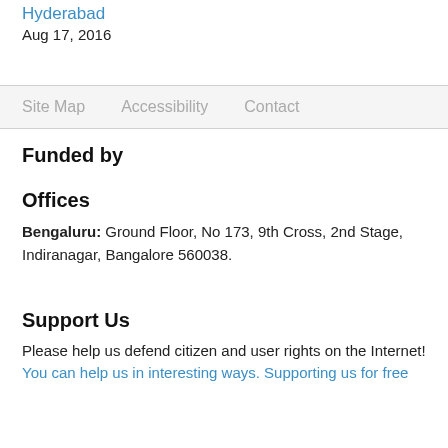Hyderabad
Aug 17, 2016
Site Map   Accessibility   Contact
Funded by
Offices
Bengaluru: Ground Floor, No 173, 9th Cross, 2nd Stage, Indiranagar, Bangalore 560038.
Support Us
Please help us defend citizen and user rights on the Internet!